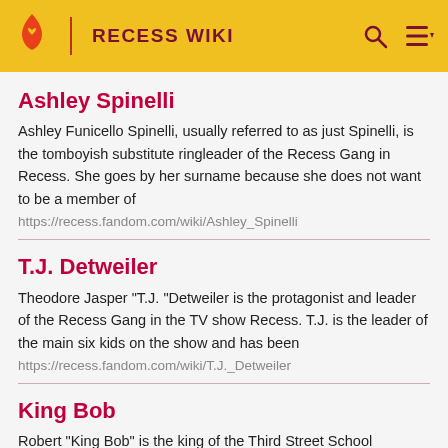RECESS WIKI
Ashley Spinelli
Ashley Funicello Spinelli, usually referred to as just Spinelli, is the tomboyish substitute ringleader of the Recess Gang in Recess. She goes by her surname because she does not want to be a member of
https://recess.fandom.com/wiki/Ashley_Spinelli
T.J. Detweiler
Theodore Jasper "T.J. "Detweiler is the protagonist and leader of the Recess Gang in the TV show Recess. T.J. is the leader of the main six kids on the show and has been
https://recess.fandom.com/wiki/T.J._Detweiler
King Bob
Robert "King Bob" is the king of the Third Street School